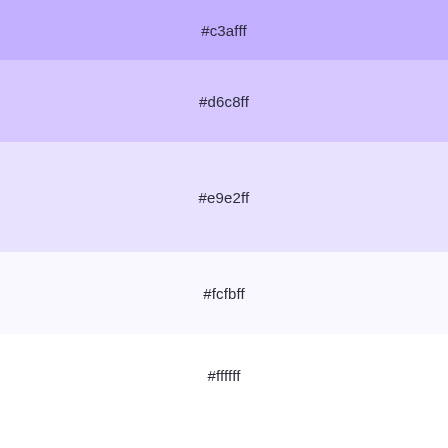[Figure (infographic): Color swatches showing monochromatic colors: #c3afff (medium purple), #d6c8ff (light purple), #e9e2ff (very light purple), #fcfbff (near white), #ffffff (white), #ffffff (white), #ffffff (white), with a 'Monochromatic Color' label below]
Alternatives to #fcfbff
Below, you can see some colors close to #fcfbff. Having